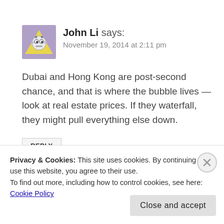[Figure (illustration): Cartoon avatar of a robot/alien face on a yellow triangle background, used as comment profile picture for John Li]
John Li says:
November 19, 2014 at 2:11 pm
Dubai and Hong Kong are post-second chance, and that is where the bubble lives — look at real estate prices. If they waterfall, they might pull everything else down.
REPLY
Allan says:
Privacy & Cookies: This site uses cookies. By continuing to use this website, you agree to their use.
To find out more, including how to control cookies, see here: Cookie Policy
Close and accept